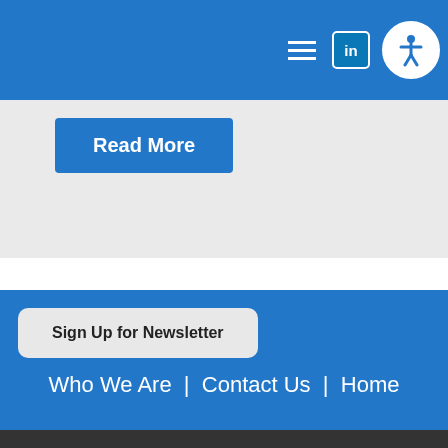[Figure (screenshot): Top navigation bar with hamburger menu, LinkedIn icon, and accessibility icon on blue background]
[Figure (screenshot): Read More button on grey background]
[Figure (screenshot): Sign Up for Newsletter button on blue background]
Who We Are | Contact Us | Home
© 2022 Southwick Associates. Privacy Policy.
To access Accessibility Options please click Ctrl + U or the accessibility icon in the upper right corner